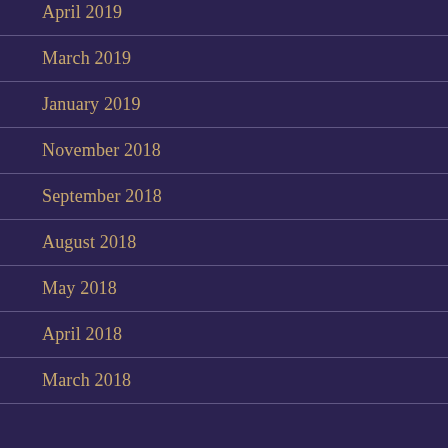April 2019
March 2019
January 2019
November 2018
September 2018
August 2018
May 2018
April 2018
March 2018